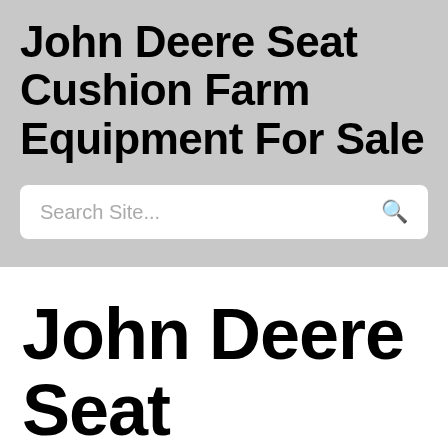John Deere Seat Cushion Farm Equipment For Sale
Search Site...
John Deere Seat